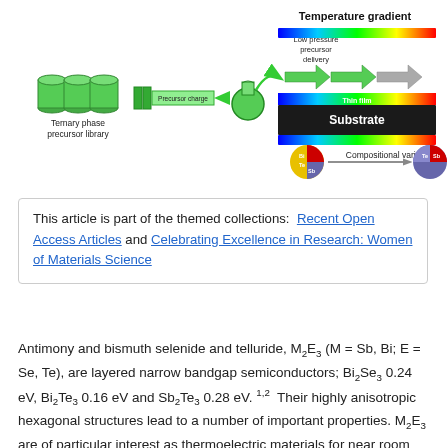[Figure (schematic): Diagram showing combinatorial thin-film deposition process: ternary phase precursor library (green cylinders), precursor charge step (green arrow), flask, then a tube furnace with temperature gradient from low-pressure precursor delivery, showing thin film on substrate with compositional variation illustrated by pie chart symbols changing from Te/Bi/Sb ratio on left to different ratio on right.]
This article is part of the themed collections: Recent Open Access Articles and Celebrating Excellence in Research: Women of Materials Science
Antimony and bismuth selenide and telluride, M2E3 (M = Sb, Bi; E = Se, Te), are layered narrow bandgap semiconductors; Bi2Se3 0.24 eV, Bi2Te3 0.16 eV and Sb2Te3 0.28 eV. 1,2 Their highly anisotropic hexagonal structures lead to a number of important properties. M2E3 are of particular interest as thermoelectric materials for near room temperature applications. n-Type Bi2Te3 and p-type Sb2Te3 may be